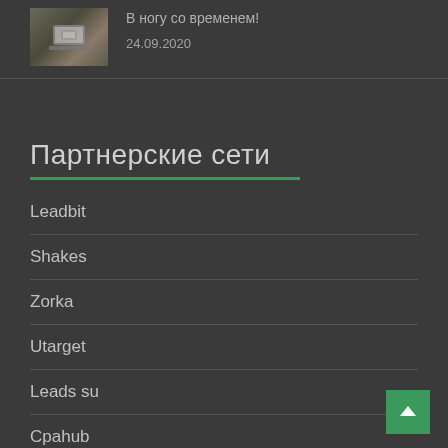[Figure (photo): Thumbnail image of a laptop on a desk]
В ногу со временем!
24.09.2020
Партнерские сети
Leadbit
Shakes
Zorka
Utarget
Leads su
Cpahub
Creditcall